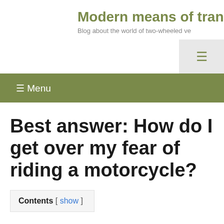Modern means of tran
Blog about the world of two-wheeled ve
Best answer: How do I get over my fear of riding a motorcycle?
| Contents | show |
| --- | --- |